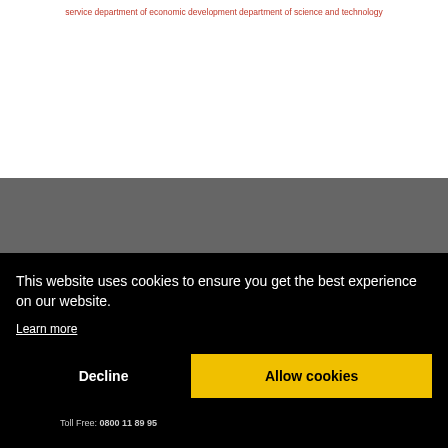service department of economic development department of science and technology
Sabinet Information
This website uses cookies to ensure you get the best experience on our website.
Learn more
Decline
Allow cookies
Toll Free: 0800 11 89 95